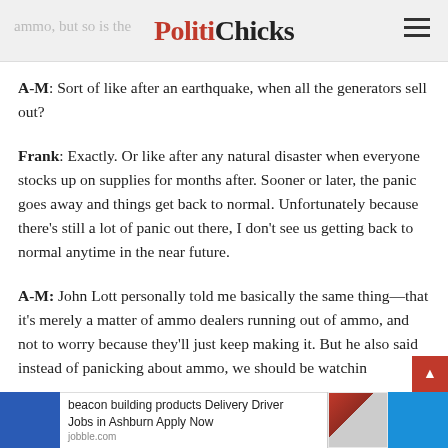PolitiChicks
A-M:  Sort of like after an earthquake, when all the generators sell out?
Frank:  Exactly.  Or like after any natural disaster when everyone stocks up on supplies for months after.  Sooner or later, the panic goes away and things get back to normal.  Unfortunately because there’s still a lot of panic out there, I don't see us getting back to normal anytime in the near future.
A-M:  John Lott personally told me basically the same thing—that it’s merely a matter of ammo dealers running out of ammo, and not to worry because they’ll just keep making it.  But he also said instead of panicking about ammo, we should be watchin… they
beacon building products Delivery Driver Jobs in Ashburn Apply Now jobble.com